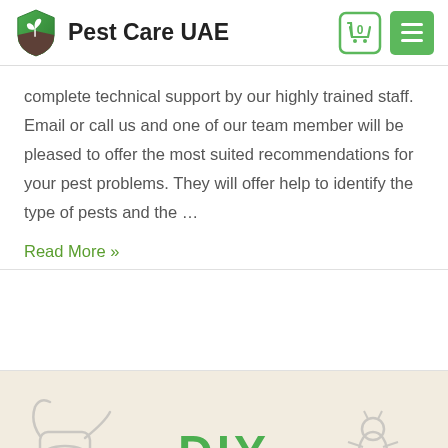Pest Care UAE
complete technical support by our highly trained staff. Email or call us and one of our team member will be pleased to offer the most suited recommendations for your pest problems. They will offer help to identify the type of pests and the ...
Read More »
[Figure (illustration): DIY section banner with cream/beige background showing partial pest control illustration with green DIY text and pest icons]
[Figure (illustration): Watering can icon on left side of DIY banner]
[Figure (illustration): Insect/bug icon on right side of DIY banner]